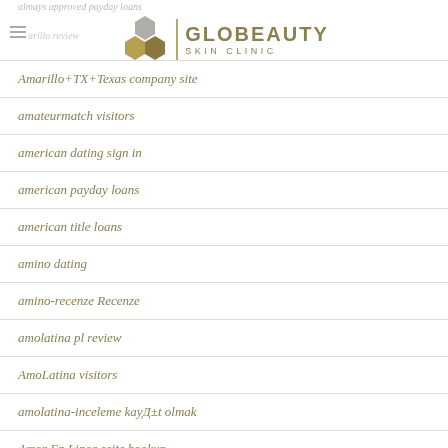GLOBEAUTY SKIN CLINIC
Amarillo+TX+Texas company site
amateurmatch visitors
american dating sign in
american payday loans
american title loans
amino dating
amino-recenze Recenze
amolatina pl review
AmoLatina visitors
amolatina-inceleme kayД±t olmak
Amor En Linea seite hookup